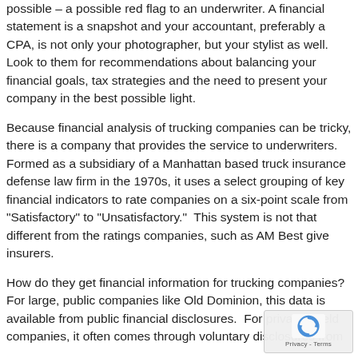possible – a possible red flag to an underwriter. A financial statement is a snapshot and your accountant, preferably a CPA, is not only your photographer, but your stylist as well. Look to them for recommendations about balancing your financial goals, tax strategies and the need to present your company in the best possible light.
Because financial analysis of trucking companies can be tricky, there is a company that provides the service to underwriters. Formed as a subsidiary of a Manhattan based truck insurance defense law firm in the 1970s, it uses a select grouping of key financial indicators to rate companies on a six-point scale from "Satisfactory" to "Unsatisfactory." This system is not that different from the ratings companies, such as AM Best give insurers.
How do they get financial information for trucking companies? For large, public companies like Old Dominion, this data is available from public financial disclosures. For privately held companies, it often comes through voluntary disclosures from